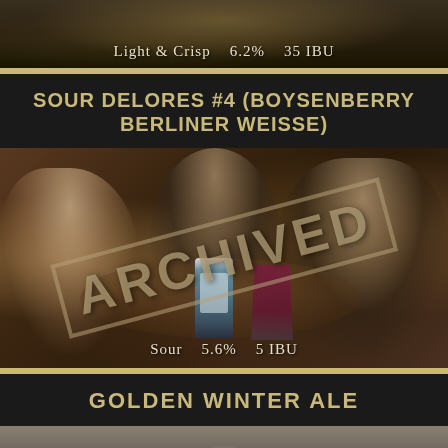[Figure (photo): Partial top card showing a beer photo with stats: Light & Crisp 6.2% 35 IBU]
Light & Crisp   6.2%   35 IBU
SOUR DELORES #4 (BOYSENBERRY BERLINER WEISSE)
[Figure (photo): Photo of three people sitting around a table with beer cans and glasses, overlaid with ARCHIVED watermark stamp]
Sour   5.6%   5 IBU
GOLDEN WINTER ALE
[Figure (photo): Partial bottom photo of Golden Winter Ale beer, showing top portion with grey/dark background]